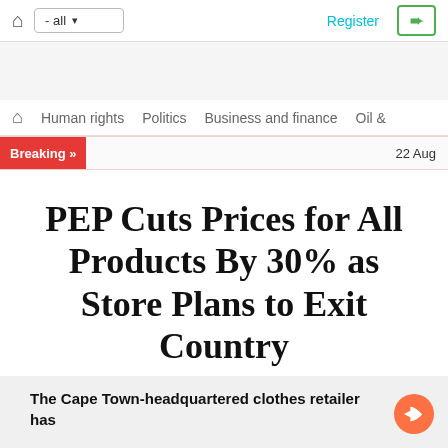- all   Register
Human rights   Politics   Business and finance   Oil &
Breaking »   22 Aug
PEP Cuts Prices for All Products By 30% as Store Plans to Exit Country
The Cape Town-headquartered clothes retailer has